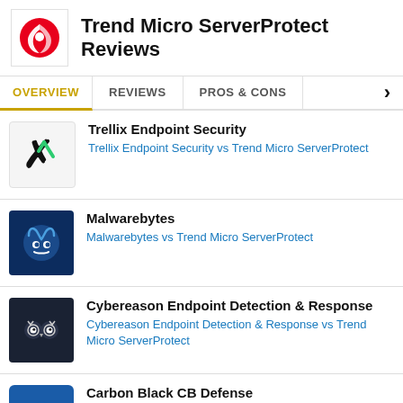Trend Micro ServerProtect Reviews
OVERVIEW | REVIEWS | PROS & CONS
Trellix Endpoint Security — Trellix Endpoint Security vs Trend Micro ServerProtect
Malwarebytes — Malwarebytes vs Trend Micro ServerProtect
Cybereason Endpoint Detection & Response — Cybereason Endpoint Detection & Response vs Trend Micro ServerProtect
Carbon Black CB Defense — Carbon Black CB Defense vs Trend Micro ServerProtect